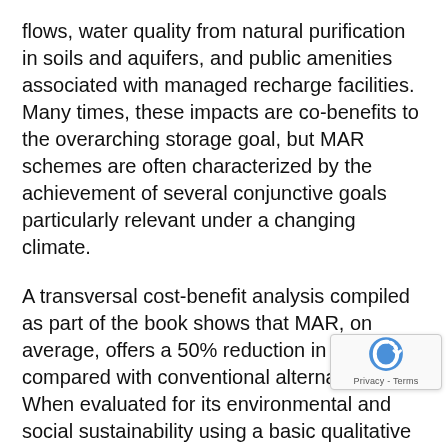flows, water quality from natural purification in soils and aquifers, and public amenities associated with managed recharge facilities. Many times, these impacts are co-benefits to the overarching storage goal, but MAR schemes are often characterized by the achievement of several conjunctive goals particularly relevant under a changing climate.
A transversal cost-benefit analysis compiled as part of the book shows that MAR, on average, offers a 50% reduction in costs compared with conventional alternatives. When evaluated for its environmental and social sustainability using a basic qualitative technique, most schemes were found to be sustainable.
The co-editors of the book, Yan Zheng, Andrew Ross, Karen Villholth and Peter Dillon, are grateful to all who made this publication possible, especially the case study contributors who represent implementers and operators comprising universities, research